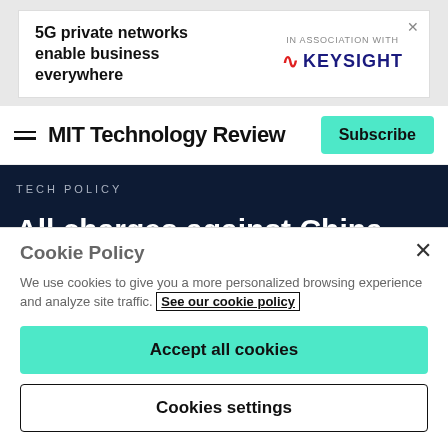[Figure (other): Advertisement banner: '5G private networks enable business everywhere' in association with Keysight logo]
MIT Technology Review
TECH POLICY
All charges against China Initiative defendant Gang Chen have been
Cookie Policy
We use cookies to give you a more personalized browsing experience and analyze site traffic. See our cookie policy
Accept all cookies
Cookies settings